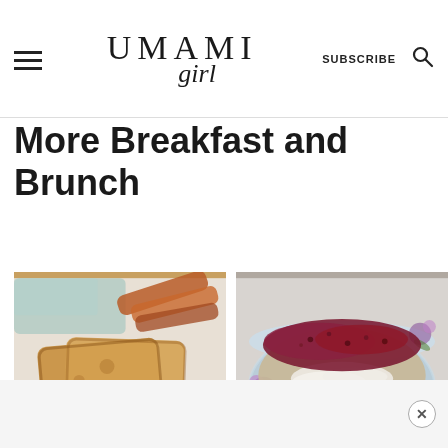UMAMI girl | SUBSCRIBE
More Breakfast and Brunch
[Figure (photo): Photo of French toast on a white plate with bacon strips in the background, golden-brown eggy bread]
[Figure (photo): Photo of a bowl of oatmeal or porridge topped with berry compote, shredded coconut, and seeds, served in a floral blue bowl]